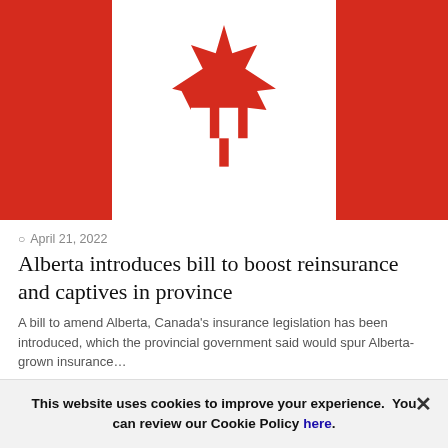[Figure (illustration): Canadian flag with red side panels on left and right and white center panel featuring a red maple leaf]
April 21, 2022
Alberta introduces bill to boost reinsurance and captives in province
A bill to amend Alberta, Canada's insurance legislation has been introduced, which the provincial government said would spur Alberta-grown insurance…
This website uses cookies to improve your experience.  You can review our Cookie Policy here.